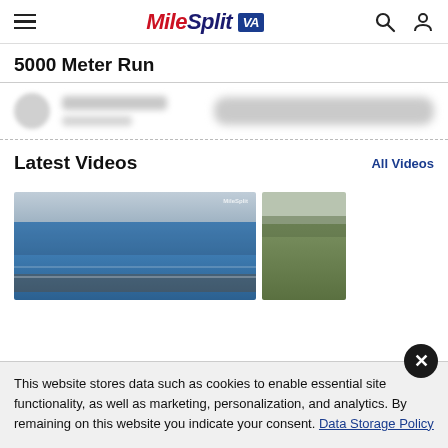MileSplit VA — navigation header with hamburger menu, logo, search and user icons
5000 Meter Run
[Figure (other): Blurred/placeholder row with circle avatar and bar elements, separated by dashed line]
Latest Videos
All Videos
[Figure (photo): Video thumbnail showing blue athletic track with people, MileSplit watermark in top right]
[Figure (photo): Partial video thumbnail showing outdoor trees/nature scene]
This website stores data such as cookies to enable essential site functionality, as well as marketing, personalization, and analytics. By remaining on this website you indicate your consent. Data Storage Policy